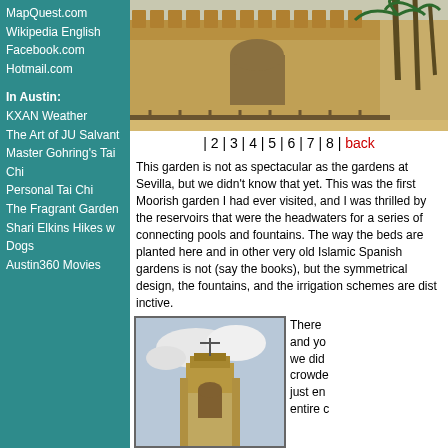MapQuest.com
Wikipedia English
Facebook.com
Hotmail.com
In Austin:
KXAN Weather
The Art of JU Salvant
Master Gohring's Tai Chi
Personal Tai Chi
The Fragrant Garden
Shari Elkins Hikes w Dogs
Austin360 Movies
[Figure (photo): Stone fortress wall with battlements and palm trees, Moorish architecture, sandy courtyard in foreground]
| 2 | 3 | 4 | 5 | 6 | 7 | 8 | back
This garden is not as spectacular as the gardens at Sevilla, but we didn't know that yet. This was the first Moorish garden I had ever visited, and I was thrilled by the reservoirs that were the headwaters for a series of connecting pools and fountains. The way the beds are planted here and in other very old Islamic Spanish gardens is not authentic (say the books), but the symmetrical design, the pools and fountains, and the irrigation schemes are distinctive.
[Figure (photo): Stone bell tower with arched opening and metal weathervane, blue sky background]
There and you we did crowde just en entire c